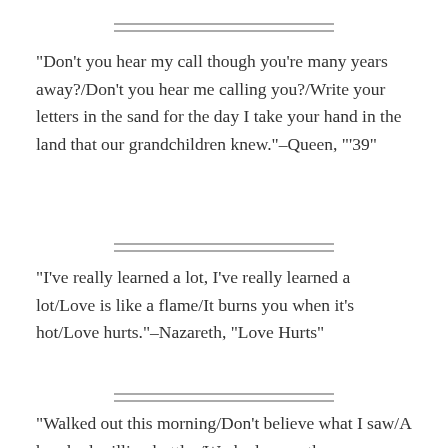“Don’t you hear my call though you’re many years away?/Don’t you hear me calling you?/Write your letters in the sand for the day I take your hand in the land that our grandchildren knew.”–Queen, “’39”
“I’ve really learned a lot, I’ve really learned a lot/Love is like a flame/It burns you when it’s hot/Love hurts.”–Nazareth, “Love Hurts”
“Walked out this morning/Don’t believe what I saw/A hundred million bottles/Washed up on the shore/Someone’s been layin’ here/A long, long…